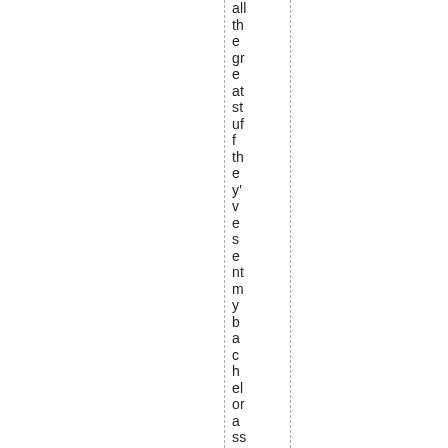all the great stuff they've sent my bachelor as the p